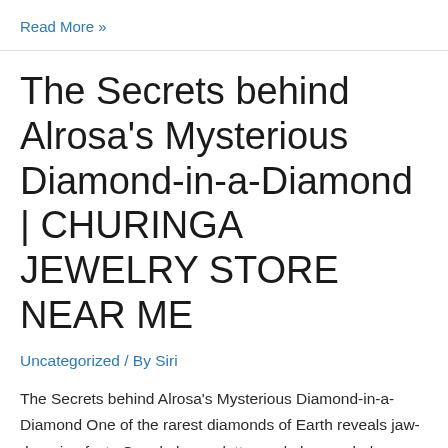Read More »
The Secrets behind Alrosa's Mysterious Diamond-in-a-Diamond | CHURINGA JEWELRY STORE NEAR ME
Uncategorized / By Siri
The Secrets behind Alrosa's Mysterious Diamond-in-a-Diamond One of the rarest diamonds of Earth reveals jaw-dropping facts Google logo g letter and plus symbol LinkedIn logo in letters Twitter logo Bird Facebook logo f letter שיתוף Print logo p letter 11.02.20Diamonds Credit: Alrosa Researchers in the New York laboratory of the Gemological Institute of America (GIA) …